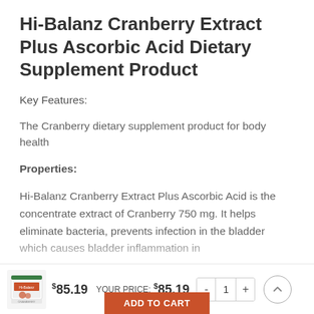Hi-Balanz Cranberry Extract Plus Ascorbic Acid Dietary Supplement Product
Key Features:
The Cranberry dietary supplement product for body health
Properties:
Hi-Balanz Cranberry Extract Plus Ascorbic Acid is the concentrate extract of Cranberry 750 mg. It helps eliminate bacteria, prevents infection in the bladder which causes bladder inflammation in
$85.19  YOUR PRICE: $85.19  - 1 +
ADD TO CART